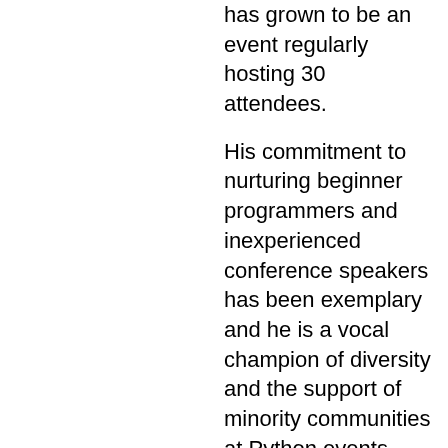has grown to be an event regularly hosting 30 attendees.
His commitment to nurturing beginner programmers and inexperienced conference speakers has been exemplary and he is a vocal champion of diversity and the support of minority communities at Python events.
As a mentor and teacher, Daniele has helped many programmers make their first contribution to open source software through his well regarded "Don't be afraid to commit" tutorial.